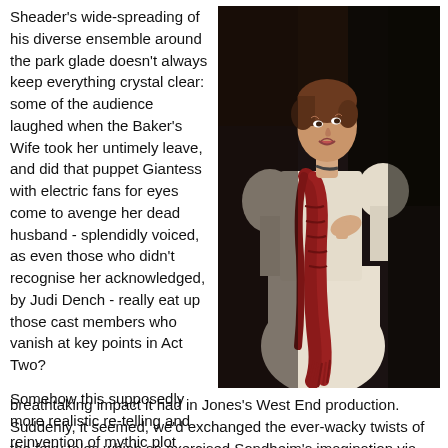Sheader's wide-spreading of his diverse ensemble around the park glade doesn't always keep everything crystal clear: some of the audience laughed when the Baker's Wife took her untimely leave, and did that puppet Giantess with electric fans for eyes come to avenge her dead husband - splendidly voiced, as even those who didn't recognise her acknowledged, by Judi Dench - really eat up those cast members who vanish at key points in Act Two?

Somehow this supposedly more realistic re-telling and reinvention of mythic plot lines didn't carry the breathtaking impact it had in Jones's West End production. Suddenly, it seemed, we'd exchanged the ever-wacky twists of the fairy tales which so exercised Sondheim's imagination via Bruno Bettelheim's The Uses
[Figure (photo): A female performer on stage wearing a white Victorian-style dress with puffed sleeves and a red knitted scarf, hand on chest, performing in what appears to be a theatrical production of Into the Woods.]